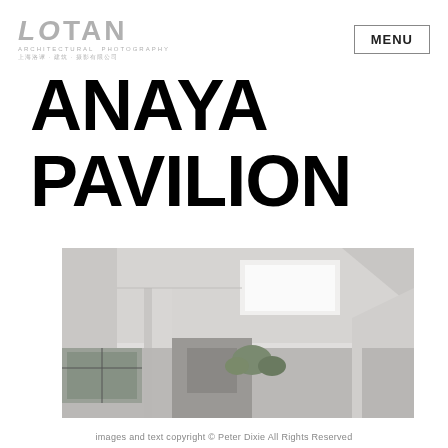[Figure (logo): LOTAN Architectural Photography logo with Chinese text subtitle]
MENU
ANAYA PAVILION
[Figure (photo): Architectural interior/exterior photograph of the Anaya Pavilion showing white concrete ceilings with skylight, columns, and courtyard with trees]
images and text copyright © Peter Dixie All Rights Reserved